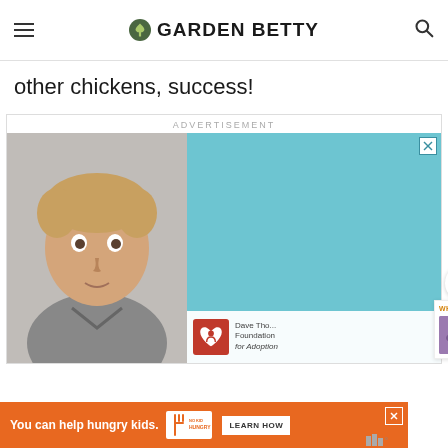GARDEN BETTY
other chickens, success!
[Figure (screenshot): Advertisement banner featuring a young boy's photo on the left against a gray background, and a teal/light blue panel on the right. The bottom shows a Dave Thomas Foundation for Adoption logo and text. An X close button appears in the top right corner of the ad.]
[Figure (infographic): Orange bottom banner advertisement reading 'You can help hungry kids.' with No Kid Hungry logo and a LEARN HOW button. An X close button is in the top right.]